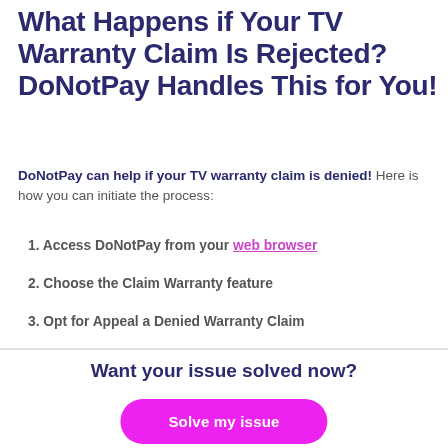What Happens if Your TV Warranty Claim Is Rejected? DoNotPay Handles This for You!
DoNotPay can help if your TV warranty claim is denied! Here is how you can initiate the process:
1. Access DoNotPay from your web browser
2. Choose the Claim Warranty feature
3. Opt for Appeal a Denied Warranty Claim
Want your issue solved now?
Solve my issue